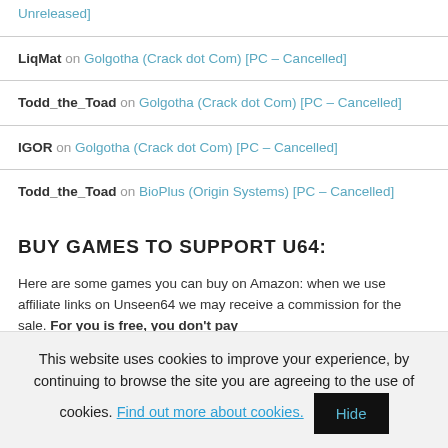Unreleased]
LiqMat on Golgotha (Crack dot Com) [PC – Cancelled]
Todd_the_Toad on Golgotha (Crack dot Com) [PC – Cancelled]
IGOR on Golgotha (Crack dot Com) [PC – Cancelled]
Todd_the_Toad on BioPlus (Origin Systems) [PC – Cancelled]
BUY GAMES TO SUPPORT U64:
Here are some games you can buy on Amazon: when we use affiliate links on Unseen64 we may receive a commission for the sale. For you is free, you don't pay
This website uses cookies to improve your experience, by continuing to browse the site you are agreeing to the use of cookies. Find out more about cookies.